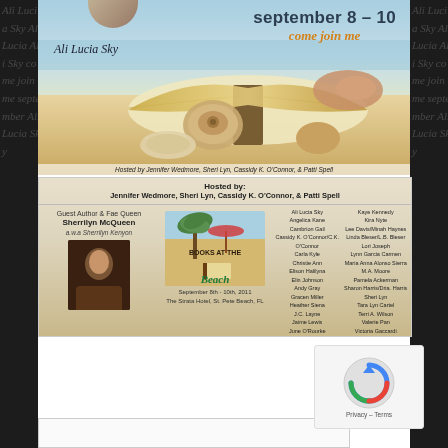[Figure (photo): Beach scene with open book and seashells on sand, with ocean in background. Text overlay: 'september 8 - 10', 'come join me', 'Ali Lucia Sky' signature. Bottom caption: 'Hosted by Jennifer Wedmore, Sheri Lyn, Cassidy K. O'Connor, & Patti Spell']
[Figure (infographic): Books at the Beach event card with guest author info for Sherrilyn McQueen a.k.a. Sherrilyn Kenyon, event logo, date September 8th-10th 2011 at The Strata Hotel St. Pete Beach FL, list of author names in two columns. Hosted by Jennifer Wedmore, Sheri Lyn, Cassidy K. O'Connor, & Patti Spell.]